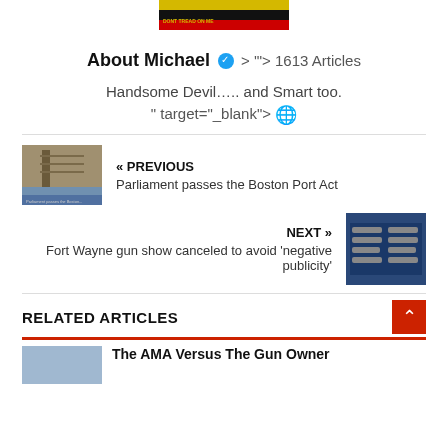[Figure (photo): Small banner image with 'DON'T TREAD ON ME' text on yellow/black/red background]
About Michael ✓ > '"> 1613 Articles
Handsome Devil….. and Smart too.
" target="_blank"> 🌐
[Figure (photo): Previous article thumbnail - historical image of sailing ship at Boston port]
« PREVIOUS
Parliament passes the Boston Port Act
NEXT »
Fort Wayne gun show canceled to avoid 'negative publicity'
[Figure (photo): Next article thumbnail - guns laid out on blue surface]
RELATED ARTICLES
[Figure (photo): Related article thumbnail - partially visible image]
The AMA Versus The Gun Owner